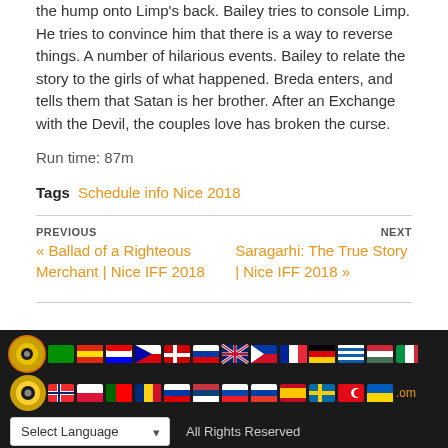the hump onto Limp's back. Bailey tries to console Limp. He tries to convince him that there is a way to reverse things. A number of hilarious events. Bailey to relate the story to the girls of what happened. Breda enters, and tells them that Satan is her brother. After an Exchange with the Devil, the couples love has broken the curse.
Run time: 87m
Tags  Schedule info Nice 2018
PREVIOUS
« Ballad of a Righteous Merchant | Nice IFF 2018
NEXT
Saragarhi: The True Story | Nice IFF 2018 »
[Figure (other): Footer with country flag icons in two rows, a logo circle, language selector dropdown, copyright notice and All Rights Reserved text on dark background]